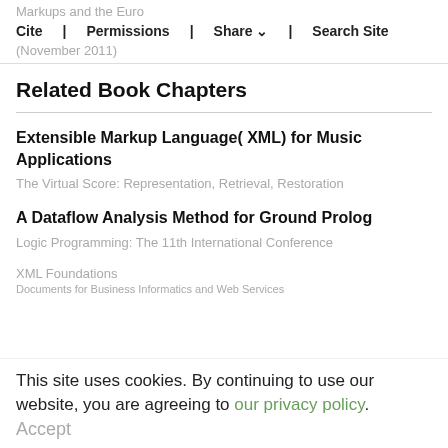Markups and the Euro
Cite  Permissions  Share  Search Site
(November 2011)
Related Book Chapters
Extensible Markup Language( XML) for Music Applications
The Virtual Score: Representation, Retrieval, Restoration
A Dataflow Analysis Method for Ground Prolog
Logic Programming: The 11th International Conference
This site uses cookies. By continuing to use our website, you are agreeing to our privacy policy.
Accept